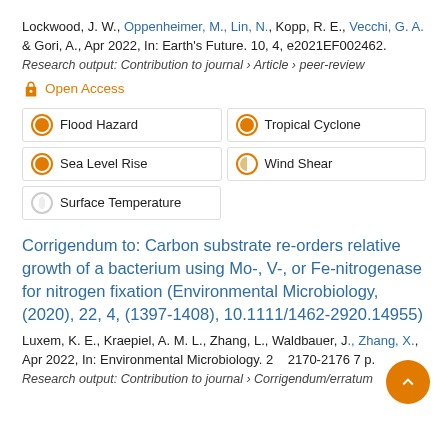Lockwood, J. W., Oppenheimer, M., Lin, N., Kopp, R. E., Vecchi, G. A. & Gori, A., Apr 2022, In: Earth's Future. 10, 4, e2021EF002462.
Research output: Contribution to journal › Article › peer-review
Open Access
Flood Hazard
Tropical Cyclone
Sea Level Rise
Wind Shear
Surface Temperature
Corrigendum to: Carbon substrate re-orders relative growth of a bacterium using Mo-, V-, or Fe-nitrogenase for nitrogen fixation (Environmental Microbiology, (2020), 22, 4, (1397-1408), 10.1111/1462-2920.14955)
Luxem, K. E., Kraepiel, A. M. L., Zhang, L., Waldbauer, J., Zhang, X., Apr 2022, In: Environmental Microbiology. 24, 4, 2170-2176 7 p.
Research output: Contribution to journal › Corrigendum/erratum